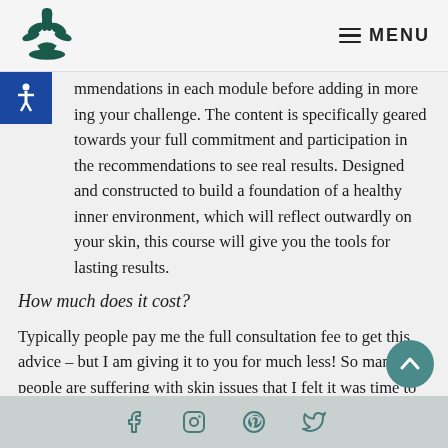MENU
mmendations in each module before adding in more ing your challenge. The content is specifically geared towards your full commitment and participation in the recommendations to see real results. Designed and constructed to build a foundation of a healthy inner environment, which will reflect outwardly on your skin, this course will give you the tools for lasting results.
How much does it cost?
Typically people pay me the full consultation fee to get this advice – but I am giving it to you for much less! So many people are suffering with skin issues that I felt it was time to share this knowledge in this way.
f  Instagram  Pinterest  Twitter